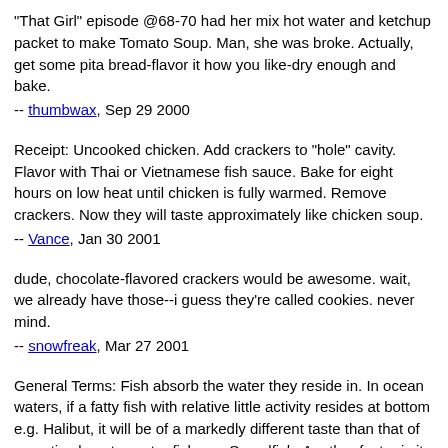"That Girl" episode @68-70 had her mix hot water and ketchup packet to make Tomato Soup. Man, she was broke. Actually, get some pita bread-flavor it how you like-dry enough and bake. -- thumbwax, Sep 29 2000
Receipt: Uncooked chicken. Add crackers to "hole" cavity. Flavor with Thai or Vietnamese fish sauce. Bake for eight hours on low heat until chicken is fully warmed. Remove crackers. Now they will taste approximately like chicken soup. -- Vance, Jan 30 2001
dude, chocolate-flavored crackers would be awesome. wait, we already have those--i guess they're called cookies. never mind. -- snowfreak, Mar 27 2001
General Terms: Fish absorb the water they reside in. In ocean waters, if a fatty fish with relative little activity resides at bottom e.g. Halibut, it will be of a markedly different taste than that of an active lean topwater fish e.g. Swordfish. Another factor is its diet, whether omnivore, carnivore, herbivore, plankton, et al. Yet a third is it's compostion of blood/oxygenation/lifespan and importantly,